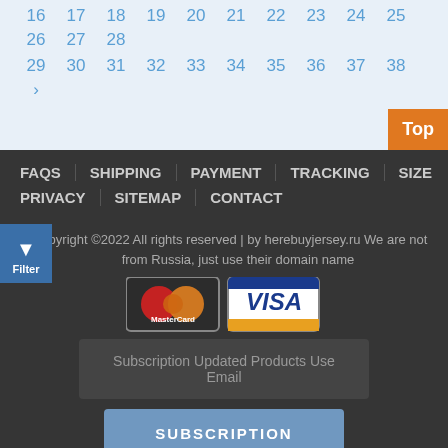16 17 18 19 20 21 22 23 24 25 26 27 28
29 30 31 32 33 34 35 36 37 38 >
FAQS | SHIPPING | PAYMENT | TRACKING | SIZE | PRIVACY | SITEMAP | CONTACT
Copyright ©2022 All rights reserved | by herebuyjersey.ru We are not from Russia, just use their domain name
[Figure (logo): MasterCard and VISA payment logos]
Subscription Updated Products Use Email
SUBSCRIPTION